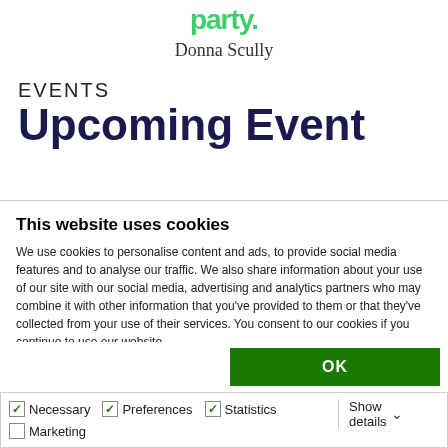party.
Donna Scully
EVENTS
Upcoming Event
[Figure (screenshot): Dark navy banner with green rounded logo icon]
This website uses cookies
We use cookies to personalise content and ads, to provide social media features and to analyse our traffic. We also share information about your use of our site with our social media, advertising and analytics partners who may combine it with other information that you've provided to them or that they've collected from your use of their services. You consent to our cookies if you continue to use our website.
OK
Necessary  Preferences  Statistics  Marketing  Show details